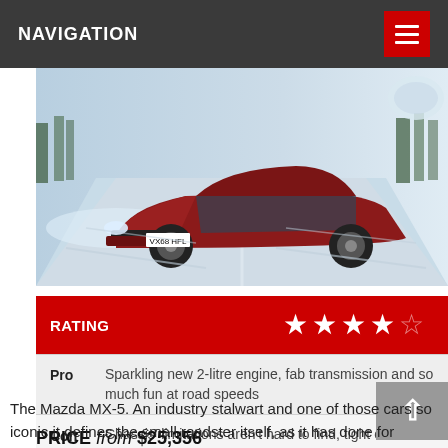NAVIGATION
[Figure (photo): Red Mazda MX-5 sports car driving on a snowy road with trees in the background, license plate VX68 HFL]
| RATING | ★★★★☆ |
| --- | --- |
| Pro | Sparkling new 2-litre engine, fab transmission and so much fun at road speeds |
| Con | Chassis' limitations aren't hard to find, tight cabin |
PRICE from $25,356
The Mazda MX-5. An industry stalwart and one of those cars so iconic it defines the small roadster itself, as it has done for